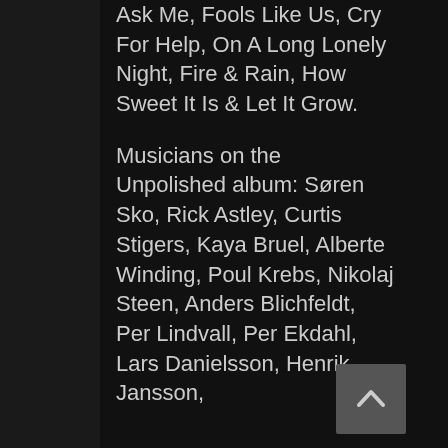Ask Me, Fools Like Us, Cry For Help, On A Long Lonely Night, Fire & Rain, How Sweet It Is & Let It Grow.
Musicians on the Unpolished album: Søren Sko, Rick Astley, Curtis Stigers, Kaya Bruel, Alberte Winding, Poul Krebs, Nikolaj Steen, Anders Blichfeldt, Per Lindvall, Per Ekdahl, Lars Danielsson, Henrik Jansson,